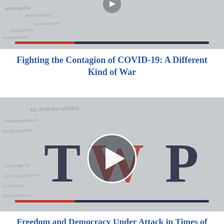[Figure (screenshot): Thumbnail image of handwritten/printed document text in grayscale, with a dark navy and red horizontal bar overlay at the bottom of the image (video thumbnail style)]
Fighting the Contagion of COVID-19: A Different Kind of War
[Figure (screenshot): Video thumbnail showing a document background with 'TWP' logo in large dark letters with an orange/rust T and W, a circular play button in the center, and a dark navy and red progress bar at the bottom]
Freedom and Democracy Under Attack in Times of Coronavirus